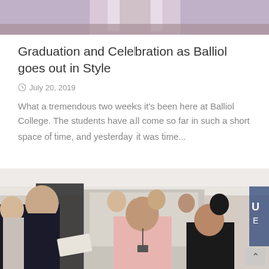[Figure (photo): Top portion of a photo showing a person in a light-colored dress, cropped at the bottom]
Graduation and Celebration as Balliol goes out in Style
July 20, 2019
What a tremendous two weeks it's been here at Balliol College. The students have all come so far in such a short space of time, and yesterday it was time...
[Figure (photo): Photo of a group of students at a graduation celebration event inside a marquee tent, with a man in a dark jacket speaking to others including a woman in a pink blazer with a lanyard]